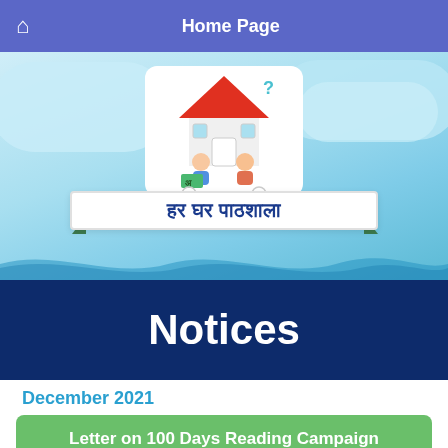Home Page
[Figure (illustration): Har Ghar Pathshala banner image with a house icon, two children reading, and Hindi text 'हर घर पाठशाला' on a ribbon, set against a light blue sky background with clouds]
Notices
December 2021
Letter on 100 Days Reading Campaign